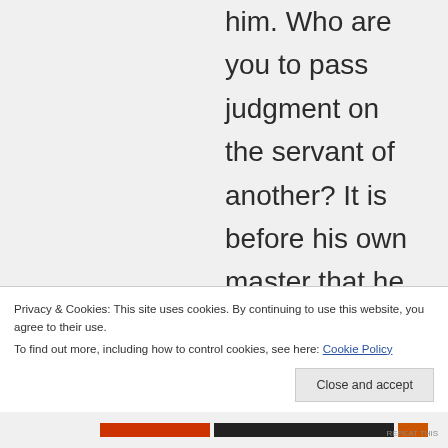him. Who are you to pass judgment on the servant of another? It is before his own master that he stands or falls. And he will be upheld, for the Lord is able to make him stand. One person esteems one day as better than
Privacy & Cookies: This site uses cookies. By continuing to use this website, you agree to their use.
To find out more, including how to control cookies, see here: Cookie Policy
Close and accept